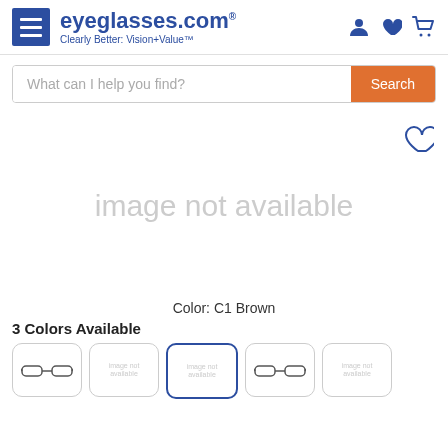eyeglasses.com — Clearly Better: Vision+Value™
What can I help you find?
[Figure (photo): Product image area showing 'image not available' placeholder text with a heart/wishlist icon in the top right corner]
Color: C1 Brown
3 Colors Available
[Figure (photo): Thumbnail strip showing 5 color variant thumbnails for eyeglasses; first and fourth show actual glasses images (brown frames), second, third, and fifth show 'image not available' placeholders; third thumbnail is selected (blue border)]